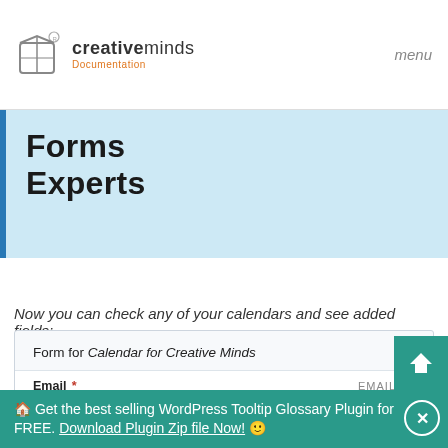[Figure (logo): CreativeMinds Documentation logo with box icon]
menu
Forms Experts
Now you can check any of your calendars and see added fields:
[Figure (screenshot): Form for Calendar for Creative Minds with Email (EMAIL type) and Notes (TEXTAREA type) fields]
🏠 Get the best selling WordPress Tooltip Glossary Plugin for FREE. Download Plugin Zip file Now! 🙂